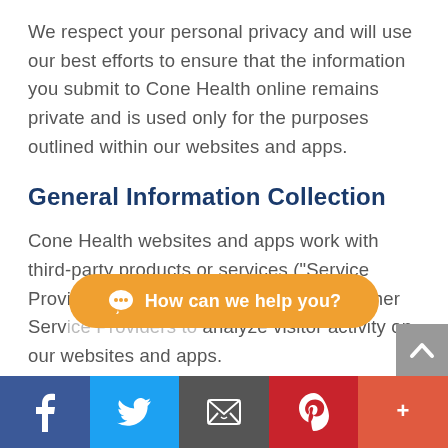We respect your personal privacy and will use our best efforts to ensure that the information you submit to Cone Health online remains private and is used only for the purposes outlined within our websites and apps.
General Information Collection
Cone Health websites and apps work with third-party products or services (“Service Providers”). These include Google and other Service Providers to analyze visitor activity on our websites and apps.
[Figure (other): Orange chat bubble overlay with speech bubble icon and text 'How can we help you?']
[Figure (other): Grey scroll-to-top button with upward chevron arrow]
[Figure (other): Social media share bar with Facebook, Twitter, Email, Pinterest, and More (+) buttons]